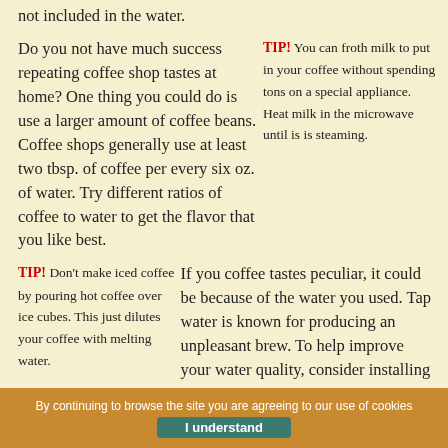not included in the water.
Do you not have much success repeating coffee shop tastes at home? One thing you could do is use a larger amount of coffee beans. Coffee shops generally use at least two tbsp. of coffee per every six oz. of water. Try different ratios of coffee to water to get the flavor that you like best.
TIP! You can froth milk to put in your coffee without spending tons on a special appliance. Heat milk in the microwave until is is steaming.
TIP! Don't make iced coffee by pouring hot coffee over ice cubes. This just dilutes your coffee with melting water.
If you coffee tastes peculiar, it could be because of the water you used. Tap water is known for producing an unpleasant brew. To help improve your water quality, consider installing a water purifying filter to your sink. If you don't want to install a filter, you can buy pitchers that contain filters or use bottled water as
By continuing to browse the site you are agreeing to our use of cookies
I understand